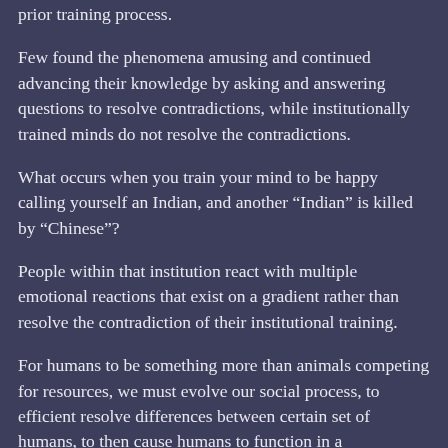prior training process.
Few found the phenomena amusing and continued advancing their knowledge by asking and answering questions to resolve contradictions, while institutionally trained minds do not resolve the contradictions.
What occurs when you train your mind to be happy calling yourself an Indian, and another “Indian” is killed by “Chinese”?
People within that institution react with multiple emotional reactions that exist on a gradient rather than resolve the contradiction of their institutional training.
For humans to be something more than animals competing for resources, we must evolve our social process, to efficient resolve differences between certain set of humans, to then cause humans to function in a decentralized, incentive-driven environment, rather than compete for useless ego-trappings of money, which I apparently need to show my family I can survive and perhaps thrive on my own, while learning for some stupid exam to do my “Masters”, and have more time for an